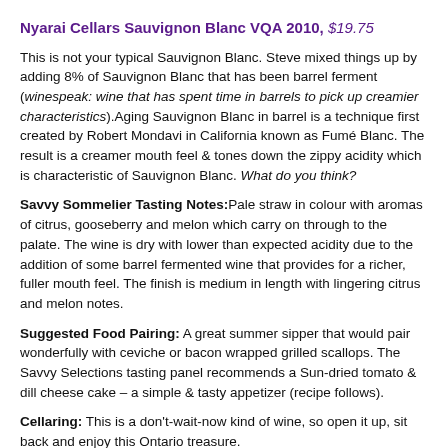Nyarai Cellars Sauvignon Blanc VQA 2010, $19.75
This is not your typical Sauvignon Blanc. Steve mixed things up by adding 8% of Sauvignon Blanc that has been barrel ferment (winespeak: wine that has spent time in barrels to pick up creamier characteristics).Aging Sauvignon Blanc in barrel is a technique first created by Robert Mondavi in California known as Fumé Blanc. The result is a creamer mouth feel & tones down the zippy acidity which is characteristic of Sauvignon Blanc. What do you think?
Savvy Sommelier Tasting Notes: Pale straw in colour with aromas of citrus, gooseberry and melon which carry on through to the palate. The wine is dry with lower than expected acidity due to the addition of some barrel fermented wine that provides for a richer, fuller mouth feel. The finish is medium in length with lingering citrus and melon notes.
Suggested Food Pairing: A great summer sipper that would pair wonderfully with ceviche or bacon wrapped grilled scallops. The Savvy Selections tasting panel recommends a Sun-dried tomato & dill cheese cake – a simple & tasty appetizer (recipe follows).
Cellaring: This is a don't-wait-now kind of wine, so open it up, sit back and enjoy this Ontario treasure.